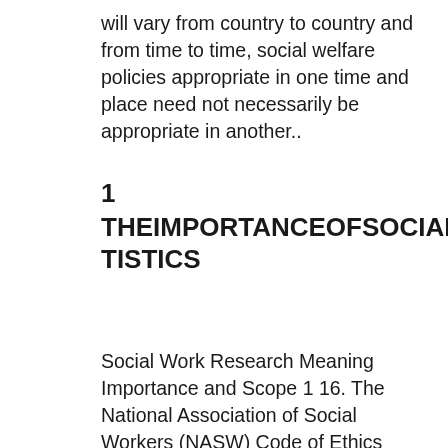will vary from country to country and from time to time, social welfare policies appropriate in one time and place need not necessarily be appropriate in another..
1 THE IMPORTANCE OF SOCIAL STATISTICS
Social Work Research Meaning Importance and Scope 1 16. The National Association of Social Workers (NASW) Code of Ethics Preamble The primary mission of the social work